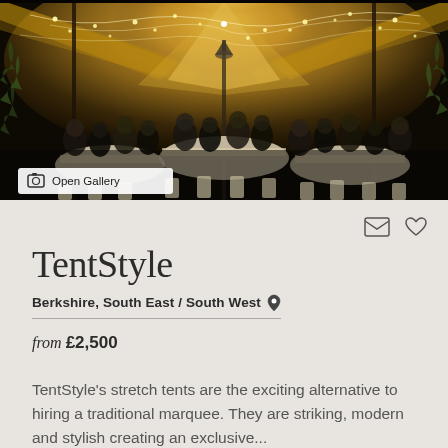[Figure (photo): Interior of a large stretch tent with warm fairy lights and string lights overhead, cream draped canvas ceiling, guests seated at tables for an evening event, with greenery visible at edges]
Open Gallery
TentStyle
Berkshire, South East / South West
from £2,500
TentStyle's stretch tents are the exciting alternative to hiring a traditional marquee. They are striking, modern and stylish creating an exclusive...